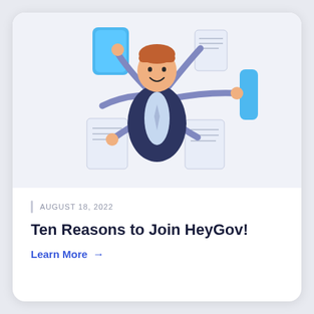[Figure (illustration): Cartoon illustration of a businessman in a dark suit with multiple arms (octopus-like), holding various documents and blue tablet/card shapes, set against a light blue-gray background.]
AUGUST 18, 2022
Ten Reasons to Join HeyGov!
Learn More →